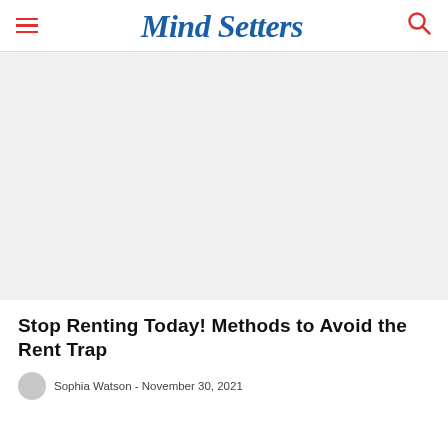Mind Setters
[Figure (photo): Large placeholder/advertisement image area with light gray background]
Stop Renting Today! Methods to Avoid the Rent Trap
Sophia Watson - November 30, 2021